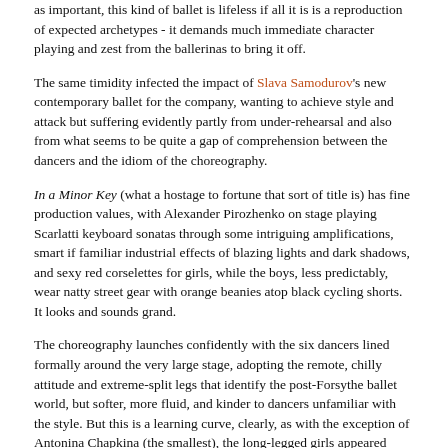as important, this kind of ballet is lifeless if all it is is a reproduction of expected archetypes - it demands much immediate character playing and zest from the ballerinas to bring it off.
The same timidity infected the impact of Slava Samodurov's new contemporary ballet for the company, wanting to achieve style and attack but suffering evidently partly from under-rehearsal and also from what seems to be quite a gap of comprehension between the dancers and the idiom of the choreography.
In a Minor Key (what a hostage to fortune that sort of title is) has fine production values, with Alexander Pirozhenko on stage playing Scarlatti keyboard sonatas through some intriguing amplifications, smart if familiar industrial effects of blazing lights and dark shadows, and sexy red corselettes for girls, while the boys, less predictably, wear natty street gear with orange beanies atop black cycling shorts. It looks and sounds grand.
The choreography launches confidently with the six dancers lined formally around the very large stage, adopting the remote, chilly attitude and extreme-split legs that identify the post-Forsythe ballet world, but softer, more fluid, and kinder to dancers unfamiliar with the style. But this is a learning curve, clearly, as with the exception of Antonina Chapkina (the smallest), the long-legged girls appeared uncomfortable with going off-balance. The boys did better, with some Puckish solos, but it's easier for them. There's musical interest in the piece, a liaison between modern pugnacity and keyboard attack, and hopefully this stylish piece will